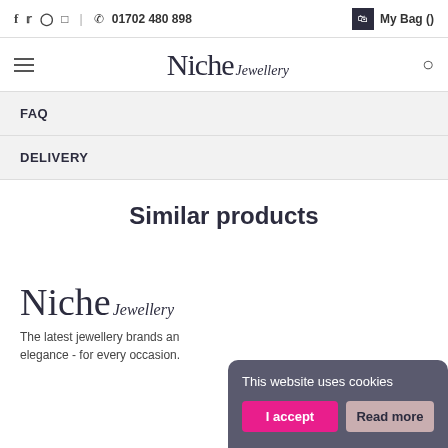f  tw  p  ig  |  ☎  01702 480 898    My Bag ()
[Figure (logo): Niche Jewellery logo with hamburger menu and search icon]
FAQ
DELIVERY
Similar products
[Figure (logo): Niche Jewellery footer logo (large serif text)]
The latest jewellery brands an elegance - for every occasion.
This website uses cookies
I accept   Read more